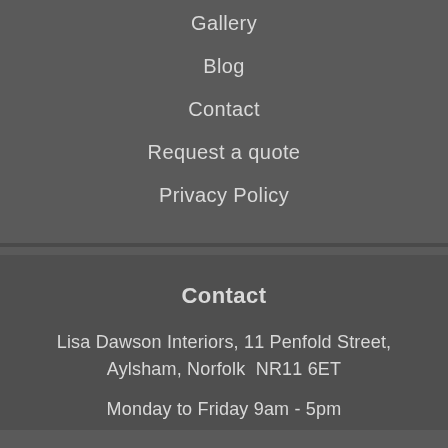Gallery
Blog
Contact
Request a quote
Privacy Policy
Contact
Lisa Dawson Interiors, 11 Penfold Street, Aylsham, Norfolk  NR11 6ET
Monday to Friday 9am - 5pm